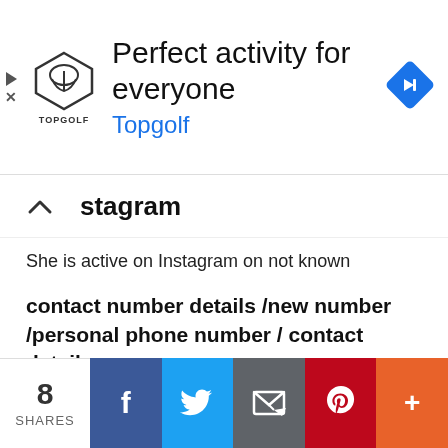[Figure (screenshot): Topgolf advertisement banner with logo and navigation icon. Text: 'Perfect activity for everyone' and 'Topgolf']
stagram
She is active on Instagram on not known
contact number details /new number /personal phone number / contact details
Not known
Images/Photo/Picture of Laya Gorty (Actress)
/wallpapers/pictures /gallery /new photos
[Figure (screenshot): Social share bar with count '8 SHARES' and buttons for Facebook, Twitter, Email, Pinterest, and More (+)]